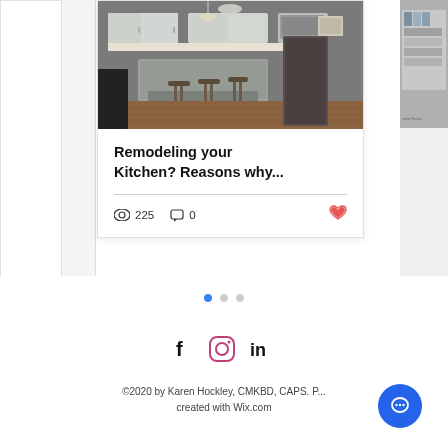[Figure (photo): Kitchen remodel photo showing white cabinets, island with bar stools, and hardwood floors]
Remodeling your Kitchen? Reasons why...
225 views, 0 comments, like button
[Figure (infographic): Carousel navigation dots: 3 dots, first one active (blue)]
[Figure (logo): Social media icons: Facebook, Instagram, LinkedIn]
©2020 by Karen Hockley, CMKBD, CAPS. P... created with Wix.com